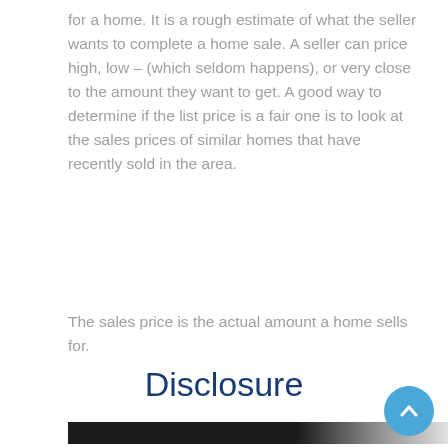for a home. It is a rough estimate of what the seller wants to complete a home sale. A seller can price high, low – (which seldom happens), or very close to the amount they want to get. A good way to determine if the list price is a fair one is to look at the sales prices of similar homes that have recently sold in the area.
The sales price is the actual amount a home sells for.
Disclosure
[Figure (photo): Partial view of a photo showing a dark and light blurred scene, cropped at the bottom of the page.]